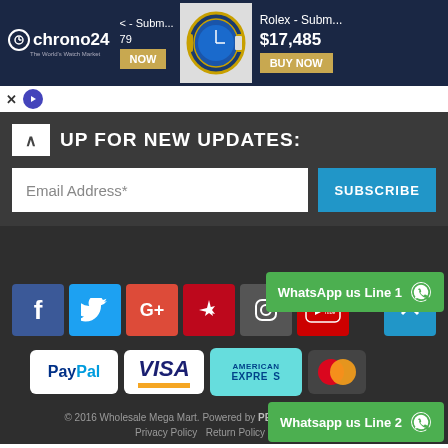[Figure (screenshot): Chrono24 advertisement banner showing Rolex watch at $17,485 with BUY NOW button]
[Figure (infographic): Small ad icons: X close button and play triangle button]
UP FOR NEW UPDATES:
Email Address*
SUBSCRIBE
[Figure (infographic): Social media icons: Facebook, Twitter, Google+, Pinterest, Instagram, YouTube and scroll-to-top button]
[Figure (infographic): Payment method icons: PayPal, VISA, American Express, Mastercard]
[Figure (infographic): WhatsApp us Line 1 green button]
[Figure (infographic): Whatsapp us Line 2 green button]
© 2016 Wholesale Mega Mart. Powered by PEHNAYA FASHION MART
Privacy Policy   Return Policy   Payment